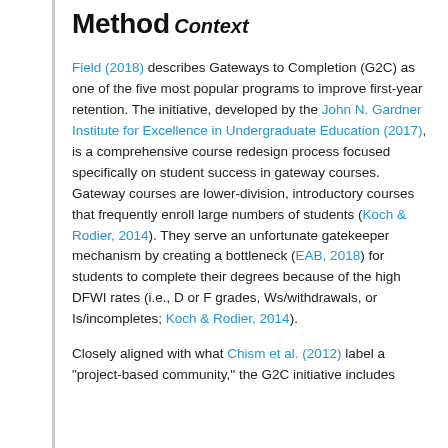Method
Context
Field (2018) describes Gateways to Completion (G2C) as one of the five most popular programs to improve first-year retention. The initiative, developed by the John N. Gardner Institute for Excellence in Undergraduate Education (2017), is a comprehensive course redesign process focused specifically on student success in gateway courses. Gateway courses are lower-division, introductory courses that frequently enroll large numbers of students (Koch & Rodier, 2014). They serve an unfortunate gatekeeper mechanism by creating a bottleneck (EAB, 2018) for students to complete their degrees because of the high DFWI rates (i.e., D or F grades, Ws/withdrawals, or Is/incompletes; Koch & Rodier, 2014).
Closely aligned with what Chism et al. (2012) label a "project-based community," the G2C initiative includes